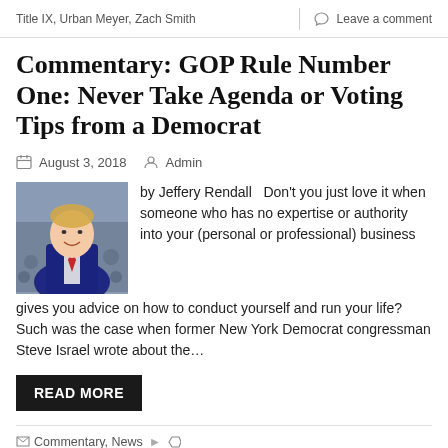Title IX, Urban Meyer, Zach Smith | Leave a comment
Commentary: GOP Rule Number One: Never Take Agenda or Voting Tips from a Democrat
August 3, 2018   Admin
[Figure (photo): Photo of a smiling man in a suit with a red tie, crowd in background]
by Jeffery Rendall   Don't you just love it when someone who has no expertise or authority into your (personal or professional) business gives you advice on how to conduct yourself and run your life? Such was the case when former New York Democrat congressman Steve Israel wrote about the…
READ MORE
Commentary, News   Congress, Democrat, President Donald Trump, Republican, US Senate   1 Comment